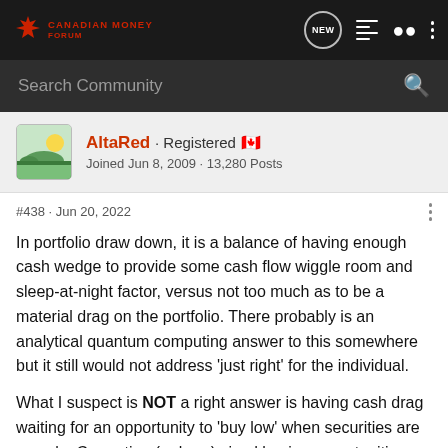CANADIAN MONEY FORUM
AltaRed · Registered 🇨🇦
Joined Jun 8, 2009 · 13,280 Posts
#438 · Jun 20, 2022
In portfolio draw down, it is a balance of having enough cash wedge to provide some cash flow wiggle room and sleep-at-night factor, versus not too much as to be a material drag on the portfolio. There probably is an analytical quantum computing answer to this somewhere but it still would not address 'just right' for the individual.
What I suspect is NOT a right answer is having cash drag waiting for an opportunity to 'buy low' when securities are on sale. Correction (or bear) sized buying opportunities don't come around with any predictable certainty.